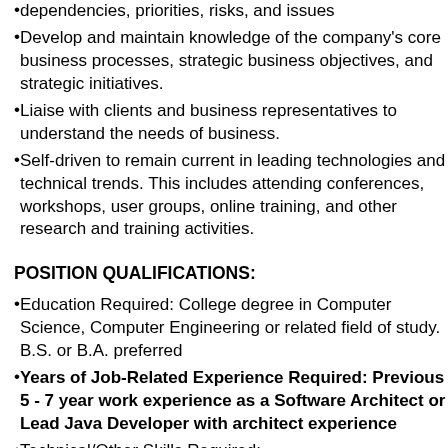dependencies, priorities, risks, and issues
Develop and maintain knowledge of the company's core business processes, strategic business objectives, and strategic initiatives.
Liaise with clients and business representatives to understand the needs of business.
Self-driven to remain current in leading technologies and technical trends. This includes attending conferences, workshops, user groups, online training, and other research and training activities.
POSITION QUALIFICATIONS:
Education Required: College degree in Computer Science, Computer Engineering or related field of study. B.S. or B.A. preferred
Years of Job-Related Experience Required: Previous 5 - 7 year work experience as a Software Architect or Lead Java Developer with architect experience
Technical/Other Skills Required: